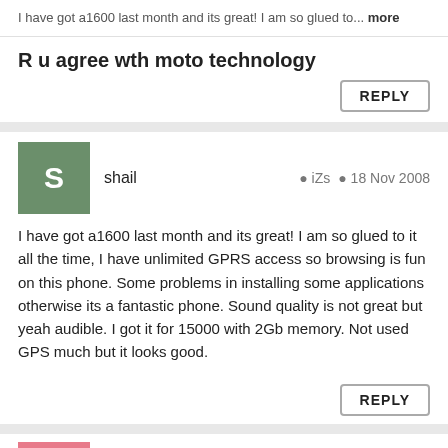I have got a1600 last month and its great! I am so glued to... more
R u agree wth moto technology
REPLY
shail  iZs  18 Nov 2008
I have got a1600 last month and its great! I am so glued to it all the time, I have unlimited GPRS access so browsing is fun on this phone. Some problems in installing some applications otherwise its a fantastic phone. Sound quality is not great but yeah audible. I got it for 15000 with 2Gb memory. Not used GPS much but it looks good.
REPLY